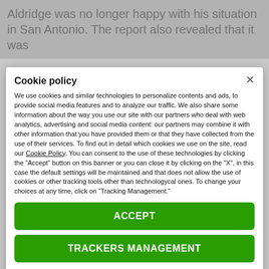Aldridge was no longer happy with his situation in San Antonio. The report also revealed that it was
Cookie policy
We use cookies and similar technologies to personalize contents and ads, to provide social media features and to analyze our traffic. We also share some information about the way you use our site with our partners who deal with web analytics, advertising and social media content: our partners may combine it with other information that you have provided them or that they have collected from the use of their services. To find out in detail which cookies we use on the site, read our Cookie Policy. You can consent to the use of these technologies by clicking the "Accept" button on this banner or you can close it by clicking on the "X", in this case the default settings will be maintained and that does not allow the use of cookies or other tracking tools other than technologycal ones. To change your choices at any time, click on “Tracking Management.”
ACCEPT
TRACKERS MANAGEMENT
Show vendors | Show purposes